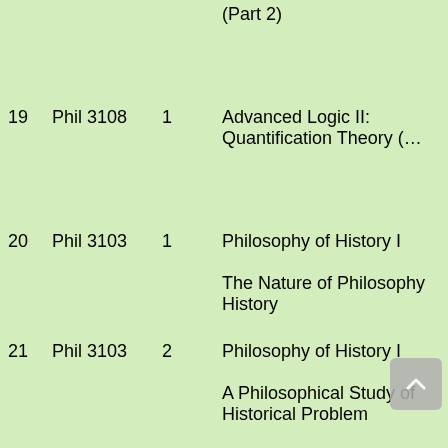| # | Code | Part | Title |
| --- | --- | --- | --- |
|  |  |  | (Part 2) |
| 19 | Phil 3108 | 1 | Advanced Logic II: Quantification Theory (… |
| 20 | Phil 3103 | 1 | Philosophy of History I
The Nature of Philosophy History |
| 21 | Phil 3103 | 2 | Philosophy of History I
A Philosophical Study of Historical Problem |
| 22 | Phil 3103 | 3 | Philosophy of History I:… |